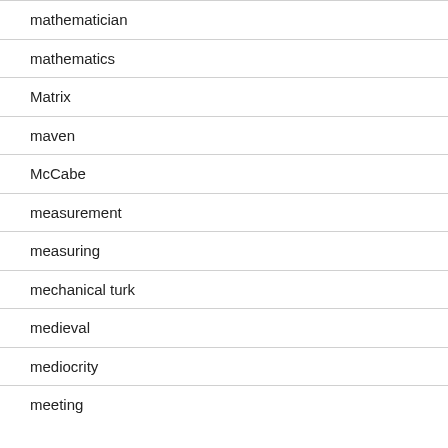mathematician
mathematics
Matrix
maven
McCabe
measurement
measuring
mechanical turk
medieval
mediocrity
meeting